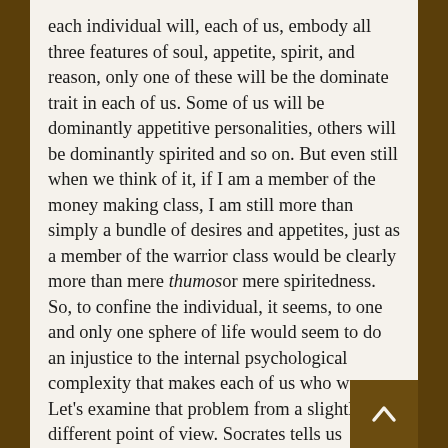each individual will, each of us, embody all three features of soul, appetite, spirit, and reason, only one of these will be the dominate trait in each of us. Some of us will be dominantly appetitive personalities, others will be dominantly spirited and so on. But even still when we think of it, if I am a member of the money making class, I am still more than simply a bundle of desires and appetites, just as a member of the warrior class would be clearly more than mere thumos or mere spiritedness. So, to confine the individual, it seems, to one and only one sphere of life would seem to do an injustice to the internal psychological complexity that makes each of us who we are. Let's examine that problem from a slightly different point of view. Socrates tells us repeatedly that justice in the city consists of each member, each citizen fulfilling his task in the